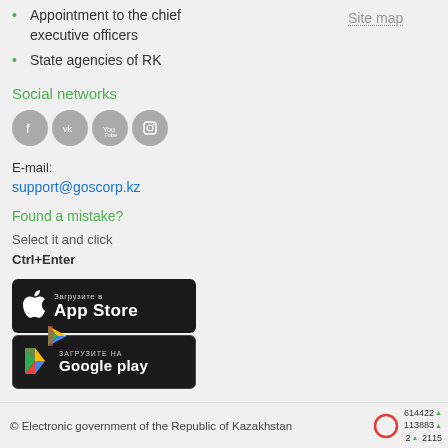Appointment to the chief executive officers
State agencies of RK
Site map
Social networks
[Figure (illustration): Four social network icons (Facebook, VK, YouTube, Instagram) as grey circles]
E-mail:
support@goscorp.kz
Found a mistake?
Select it and click
Ctrl+Enter
[Figure (illustration): App Store badge: Загрузите в App Store]
[Figure (illustration): Google Play badge: ЗАГРУЗИТЕ НА Google play]
© Electronic government of the Republic of Kazakhstan
614422▲
113883▲
2▲  2115